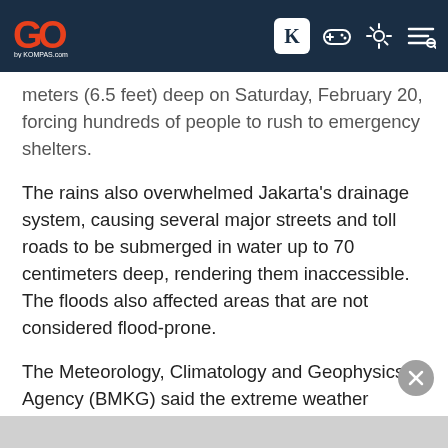GO by KOMPAS.com
meters (6.5 feet) deep on Saturday, February 20, forcing hundreds of people to rush to emergency shelters.
The rains also overwhelmed Jakarta's drainage system, causing several major streets and toll roads to be submerged in water up to 70 centimeters deep, rendering them inaccessible. The floods also affected areas that are not considered flood-prone.
The Meteorology, Climatology and Geophysics Agency (BMKG) said the extreme weather conditions in the Greater Jakarta areas were caused by several factors, such as the presence of air burst from Asia, atmospheric disturbances in the equator zone, and the emergence of low-pressure centers in northern Australia.